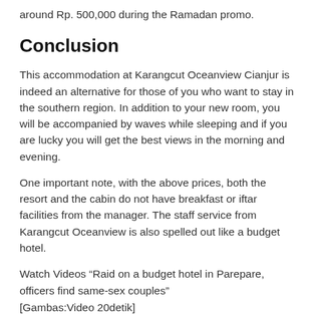around Rp. 500,000 during the Ramadan promo.
Conclusion
This accommodation at Karangcut Oceanview Cianjur is indeed an alternative for those of you who want to stay in the southern region. In addition to your new room, you will be accompanied by waves while sleeping and if you are lucky you will get the best views in the morning and evening.
One important note, with the above prices, both the resort and the cabin do not have breakfast or iftar facilities from the manager. The staff service from Karangcut Oceanview is also spelled out like a budget hotel.
Watch Videos “Raid on a budget hotel in Parepare, officers find same-sex couples”
[Gambas:Video 20detik]
(eg/msl)